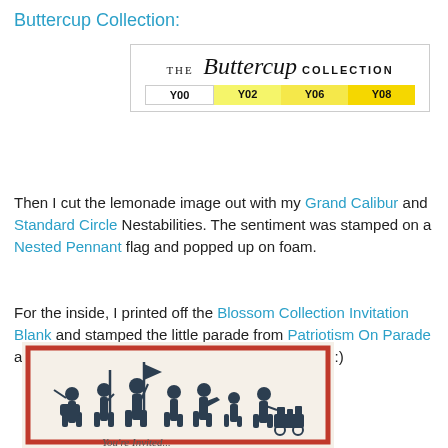Buttercup Collection:
[Figure (logo): The Buttercup Collection logo with color swatches Y00, Y02, Y06, Y08]
Then I cut the lemonade image out with my Grand Calibur and Standard Circle Nestabilities. The sentiment was stamped on a Nested Pennant flag and popped up on foam.
For the inside, I printed off the Blossom Collection Invitation Blank and stamped the little parade from Patriotism On Parade at the top. It's all ready to be filled in and mailed :)
[Figure (photo): Photo of a greeting card with a red border showing silhouette figures of children in a parade on a cream/beige background, with cursive text at bottom]